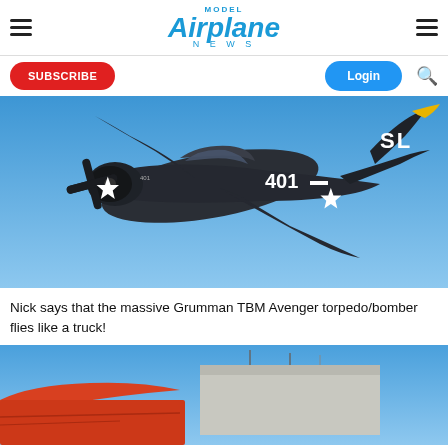Model Airplane News
SUBSCRIBE   Login
[Figure (photo): A dark navy/black Grumman TBM Avenger torpedo bomber in flight against a blue sky. The aircraft shows markings '401' and 'SL' on the tail, with a white star insignia. The plane is viewed from below/behind at an angle.]
Nick says that the massive Grumman TBM Avenger torpedo/bomber flies like a truck!
[Figure (photo): Partial view of another aircraft on the ground, showing what appears to be a red/orange section, with a building and blue sky in background.]